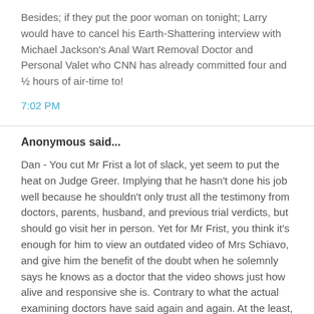Besides; if they put the poor woman on tonight; Larry would have to cancel his Earth-Shattering interview with Michael Jackson's Anal Wart Removal Doctor and Personal Valet who CNN has already committed four and ½ hours of air-time to!
7:02 PM
Anonymous said...
Dan - You cut Mr Frist a lot of slack, yet seem to put the heat on Judge Greer. Implying that he hasn't done his job well because he shouldn't only trust all the testimony from doctors, parents, husband, and previous trial verdicts, but should go visit her in person. Yet for Mr Frist, you think it's enough for him to view an outdated video of Mrs Schiavo, and give him the benefit of the doubt when he solemnly says he knows as a doctor that the video shows just how alive and responsive she is. Contrary to what the actual examining doctors have said again and again. At the least, I think you'd have to insist on Frist going to visit her too, before you